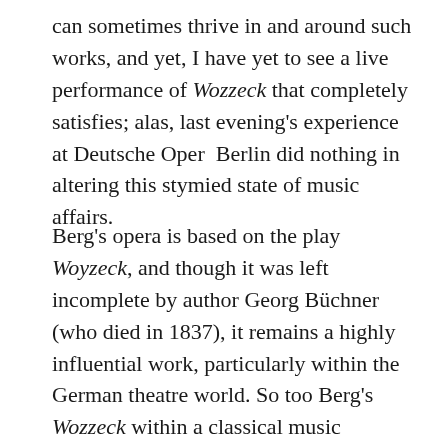can sometimes thrive in and around such works, and yet, I have yet to see a live performance of Wozzeck that completely satisfies; alas, last evening's experience at Deutsche Oper  Berlin did nothing in altering this stymied state of music affairs.
Berg's opera is based on the play Woyzeck, and though it was left incomplete by author Georg Büchner (who died in 1837), it remains a highly influential work, particularly within the German theatre world. So too Berg's Wozzeck within a classical music corollary; even now, a century after its composition, the work remains revolutionary for its whole-hearted embrace of atonality. Solidly resisting all the predictable sounds and techniques which had dominated Western classical